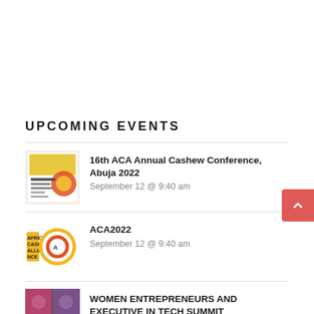UPCOMING EVENTS
16th ACA Annual Cashew Conference, Abuja 2022
September 12 @ 9:40 am
ACA2022
September 12 @ 9:40 am
WOMEN ENTREPRENEURS AND EXECUTIVE IN TECH SUMMIT
September 15 @ 7:00 am - 3:00 pm
Africa sales and Marketing conference
September 15 @ 9:00 am